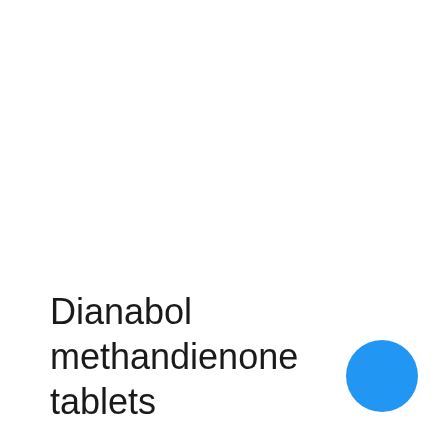Dianabol methandienone tablets
[Figure (other): Blue circular button with three white dots (more options / ellipsis button)]